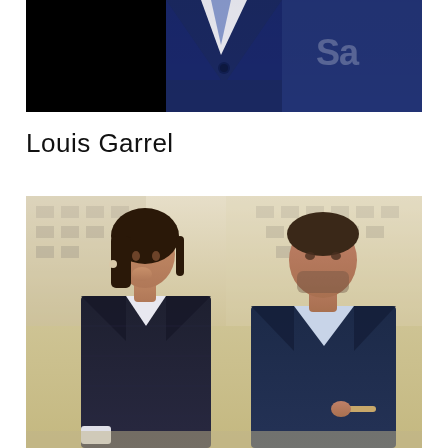[Figure (photo): Close-up photo of a person wearing a navy blue suit, cropped to show torso only, with partial text watermark visible on right side]
Louis Garrel
[Figure (photo): Outdoor photo of two people — a woman with dark hair wearing a dark tweed jacket touching her face, and a man in a navy suit with stubble, standing together with a white building facade in the background]